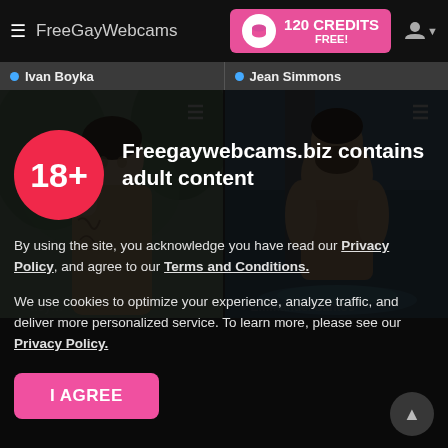FreeGayWebcams — 120 CREDITS FREE!
[Figure (screenshot): Webcam grid showing two male models: Ivan Boyka (left) and Jean Simmons (right), with a modal overlay containing an 18+ age warning and consent dialog]
Freegaywebcams.biz contains adult content
By using the site, you acknowledge you have read our Privacy Policy, and agree to our Terms and Conditions.
We use cookies to optimize your experience, analyze traffic, and deliver more personalized service. To learn more, please see our Privacy Policy.
I AGREE